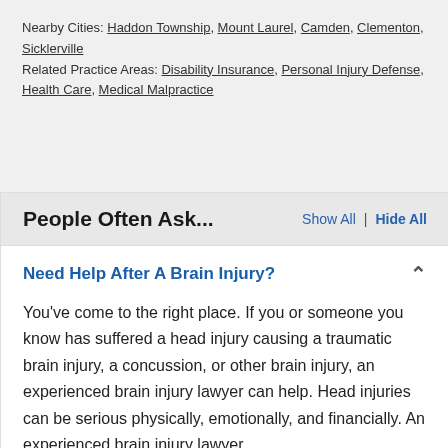Nearby Cities: Haddon Township, Mount Laurel, Camden, Clementon, Sicklerville
Related Practice Areas: Disability Insurance, Personal Injury Defense, Health Care, Medical Malpractice
People Often Ask...
Need Help After A Brain Injury?
You've come to the right place. If you or someone you know has suffered a head injury causing a traumatic brain injury, a concussion, or other brain injury, an experienced brain injury lawyer can help. Head injuries can be serious physically, emotionally, and financially. An experienced brain injury lawyer